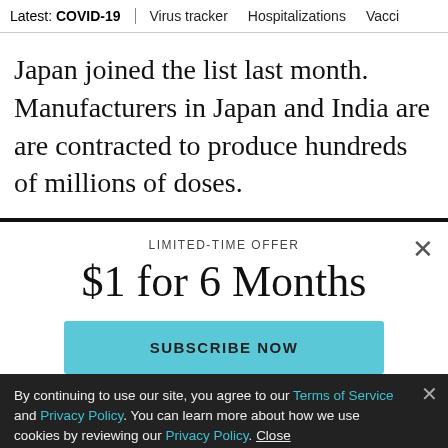Latest: COVID-19 | Virus tracker | Hospitalizations | Vacci
Japan joined the list last month. Manufacturers in Japan and India are are contracted to produce hundreds of millions of doses.
LIMITED-TIME OFFER
$1 for 6 Months
SUBSCRIBE NOW
By continuing to use our site, you agree to our Terms of Service and Privacy Policy. You can learn more about how we use cookies by reviewing our Privacy Policy. Close